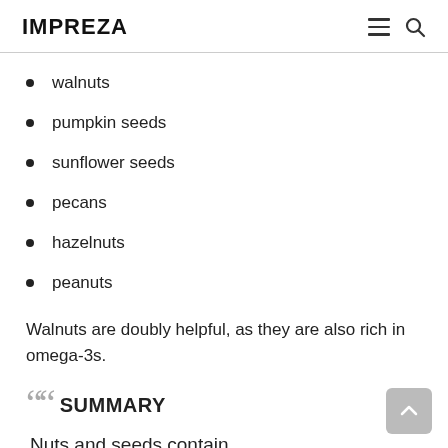IMPREZA
walnuts
pumpkin seeds
sunflower seeds
pecans
hazelnuts
peanuts
Walnuts are doubly helpful, as they are also rich in omega-3s.
SUMMARY
Nuts and seeds contain